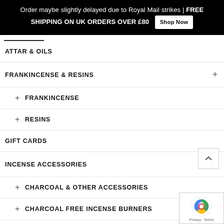Order maybe slightly delayed due to Royal Mail strikes | FREE SHIPPING ON UK ORDERS OVER £80  Shop Now
ATTAR & OILS
FRANKINCENSE & RESINS +
+ FRANKINCENSE
+ RESINS
GIFT CARDS
INCENSE ACCESSORIES +
+ CHARCOAL & OTHER ACCESSORIES
+ CHARCOAL FREE INCENSE BURNERS
+ CHARCOAL INCENSE BURNERS